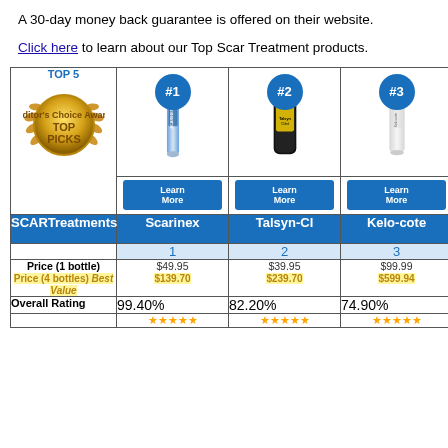A 30-day money back guarantee is offered on their website.
Click here to learn about our Top Scar Treatment products.
| SCARTreatments | Scarinex | Talsyn-Cl | Kelo-cote | Re... |
| --- | --- | --- | --- | --- |
| TOP 5 [image] | #1 [product image] | #2 [product image] | #3 [product image] | [product image] |
|  | Learn More | Learn More | Learn More | Le... M... |
|  | Scarinex | Talsyn-Cl | Kelo-cote | Re... |
|  | 1 | 2 | 3 |  |
| Price (1 bottle)
Price (4 bottles) Best Value | $49.95
$139.70 | $39.95
$239.70 | $99.99
$599.94 | $3...
$2... |
| Overall Rating | 99.40% | 82.20% | 74.90% | 70... |
|  | ★★★★★ | ★★★★★ | ★★★★★ | ★★★ |